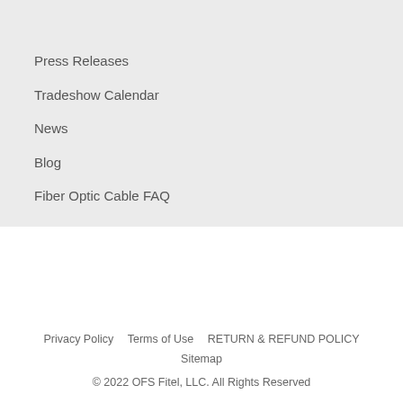Press Releases
Tradeshow Calendar
News
Blog
Fiber Optic Cable FAQ
Privacy Policy    Terms of Use    RETURN & REFUND POLICY    Sitemap
© 2022 OFS Fitel, LLC. All Rights Reserved